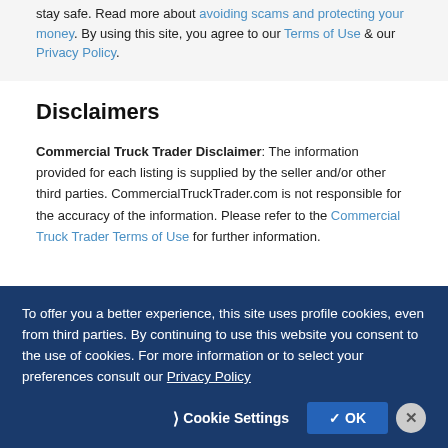stay safe. Read more about avoiding scams and protecting your money. By using this site, you agree to our Terms of Use & our Privacy Policy.
Disclaimers
Commercial Truck Trader Disclaimer: The information provided for each listing is supplied by the seller and/or other third parties. CommercialTruckTrader.com is not responsible for the accuracy of the information. Please refer to the Commercial Truck Trader Terms of Use for further information.
To offer you a better experience, this site uses profile cookies, even from third parties. By continuing to use this website you consent to the use of cookies. For more information or to select your preferences consult our Privacy Policy